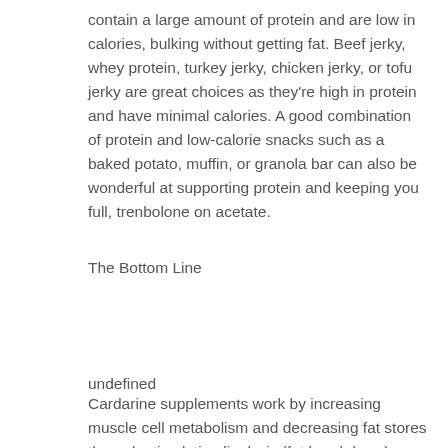contain a large amount of protein and are low in calories, bulking without getting fat. Beef jerky, whey protein, turkey jerky, chicken jerky, or tofu jerky are great choices as they're high in protein and have minimal calories. A good combination of protein and low-calorie snacks such as a baked potato, muffin, or granola bar can also be wonderful at supporting protein and keeping you full, trenbolone on acetate.
The Bottom Line
undefined
Cardarine supplements work by increasing muscle cell metabolism and decreasing fat stores through stimulating lipolysis (fat breakdown). 3114 followers, 196 following, 208 posts - see instagram photos and videos